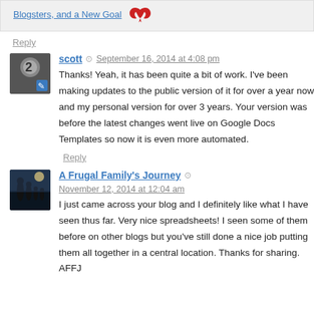Blogsters, and a New Goal
Reply
scott · September 16, 2014 at 4:08 pm
Thanks! Yeah, it has been quite a bit of work. I've been making updates to the public version of it for over a year now and my personal version for over 3 years. Your version was before the latest changes went live on Google Docs Templates so now it is even more automated.
Reply
A Frugal Family's Journey · November 12, 2014 at 12:04 am
I just came across your blog and I definitely like what I have seen thus far. Very nice spreadsheets! I seen some of them before on other blogs but you've still done a nice job putting them all together in a central location. Thanks for sharing. AFFJ